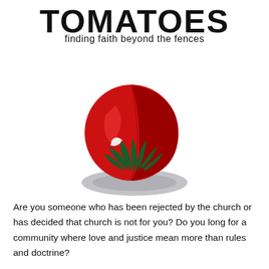TOMATOES
finding faith beyond the fences
[Figure (illustration): Stylized tomato illustration with red body showing light/dark red sections, white highlight, green stem/calyx leaves at bottom, and a soft grey elliptical shadow beneath it]
Are you someone who has been rejected by the church or has decided that church is not for you? Do you long for a community where love and justice mean more than rules and doctrine?